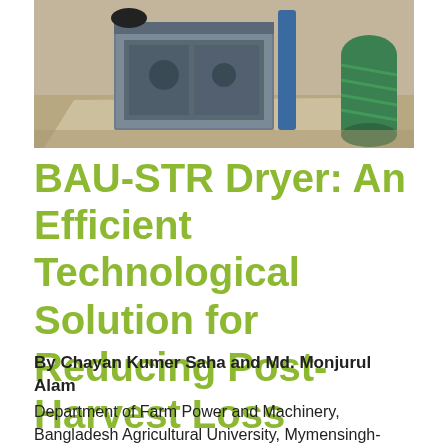[Figure (photo): Photograph of the BAU-STR Dryer equipment outdoors, showing a box-shaped metal dryer unit with a cylindrical green component to the right, placed on a tarp on the ground.]
BAU-STR Dryer: An Efficient Technological Solution for Reducing Post- Harvest Loss
By Chayan Kumer Saha and Md. Monjurul Alam
Department of Farm Power and Machinery, Bangladesh Agricultural University, Mymensingh-2202, Bangladesh